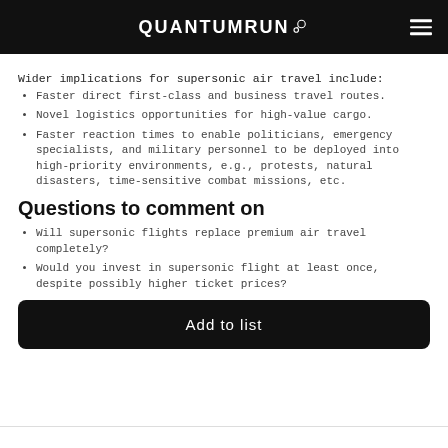QUANTUMRUN
Wider implications for supersonic air travel include:
Faster direct first-class and business travel routes.
Novel logistics opportunities for high-value cargo.
Faster reaction times to enable politicians, emergency specialists, and military personnel to be deployed into high-priority environments, e.g., protests, natural disasters, time-sensitive combat missions, etc.
Questions to comment on
Will supersonic flights replace premium air travel completely?
Would you invest in supersonic flight at least once, despite possibly higher ticket prices?
Add to list